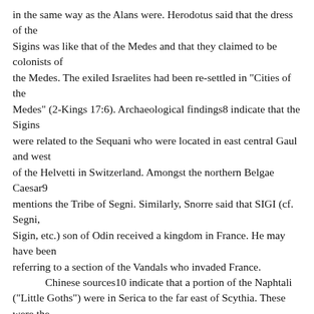in the same way as the Alans were. Herodotus said that the dress of the Sigins was like that of the Medes and that they claimed to be colonists of the Medes. The exiled Israelites had been re-settled in "Cities of the Medes" (2-Kings 17:6). Archaeological findings8 indicate that the Sigins were related to the Sequani who were located in east central Gaul and west of the Helvetti in Switzerland. Amongst the northern Belgae Caesar9 mentions the Tribe of Segni. Similarly, Snorre said that SIGI (cf. Segni, Sigin, etc.) son of Odin received a kingdom in France. He may have been referring to a section of the Vandals who invaded France. Chinese sources10 indicate that a portion of the Naphtali ("Little Goths") were in Serica to the far east of Scythia. These were the SIZYGES (Sigini) mentioned by Ptolemy who were in proximity to the Damnae (of Dan), the Chatae Scythae, and the Achassa.>>
The sources I quoted were good ones but they may have been